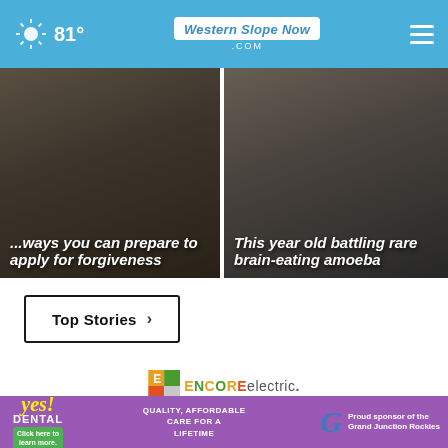81° Western Slope Now .com
[Figure (photo): News thumbnail: student loan article - ways you can prepare to apply for forgiveness]
[Figure (photo): News thumbnail: This year old battling rare brain-eating amoeba]
Top Stories ›
[Figure (logo): ENCORE electric logo]
[Figure (photo): ENCORE electric ad: Top Pay and Benefits for Experienced... with worker in hard hat]
[Figure (logo): Yes! Dental advertisement banner - Quality, Affordable Care for a Lifetime - Proud sponsor of the Grand Junction Rockies]